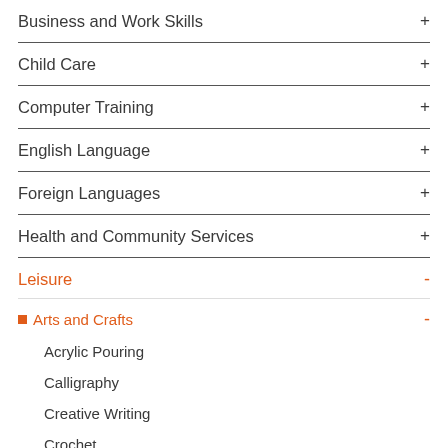Business and Work Skills +
Child Care +
Computer Training +
English Language +
Foreign Languages +
Health and Community Services +
Leisure -
Arts and Crafts -
Acrylic Pouring
Calligraphy
Creative Writing
Crochet
Drawing and Painting